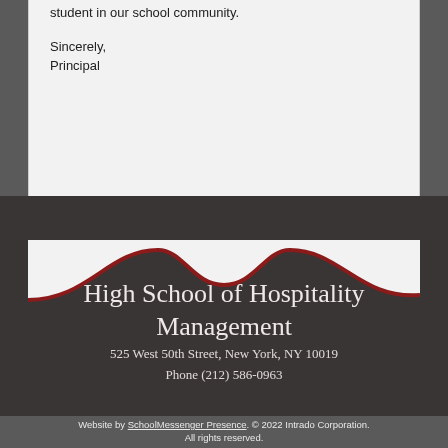student in our school community.

Sincerely,
Principal
[Figure (illustration): Decorative wave divider separating white letter area from dark footer; wave has dark maroon/crimson border on top edge, with two peaks and dark charcoal background below.]
High School of Hospitality Management
525 West 50th Street, New York, NY 10019
Phone (212) 586-0963
Website by SchoolMessenger Presence. © 2022 Intrado Corporation. All rights reserved.